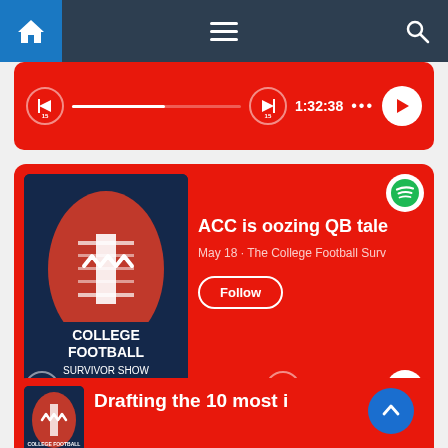[Figure (screenshot): Navigation bar with home icon, hamburger menu, and search icon on dark blue background]
[Figure (screenshot): Partial podcast episode card showing progress bar at 55%, time 1:32:38, and play button on red background]
[Figure (screenshot): Podcast card for College Football Survivor Show with episode title 'ACC is oozing QB tale', date May 18, Spotify logo, Follow button, and playback controls showing 1:30:20]
[Figure (screenshot): Partial bottom podcast card showing College Football Survivor Show artwork and text 'Drafting the 10 most i...' with scroll-to-top button]